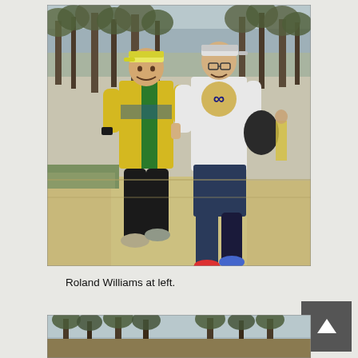[Figure (photo): Two men running outdoors in a park setting along a dirt/gravel path. The man on the left wears a yellow and green Australia jersey, black shorts, and a cap. The man on the right wears a white t-shirt with a logo, dark shorts, glasses, and a cap. Trees line the background. Both are smiling.]
Roland Williams at left.
[Figure (photo): Partial view of another outdoor running photo, partially visible at the bottom of the page, showing trees and runners.]